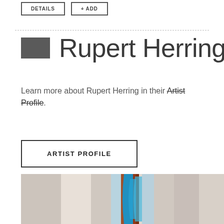DETAILS | + ADD
Rupert Herring
Learn more about Rupert Herring in their Artist Profile.
ARTIST PROFILE
[Figure (photo): Partial view of artwork showing vertical blue mosaic/resin forms on a light background]